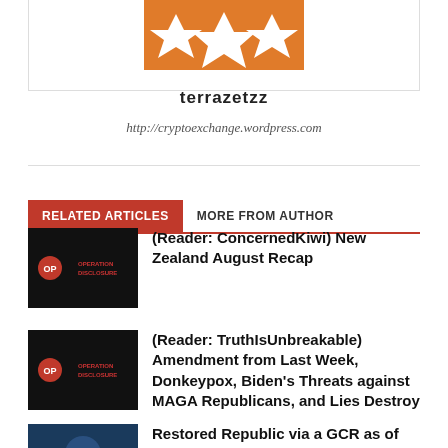[Figure (logo): Orange and white geometric logo for terrazetzz]
terrazetzz
http://cryptoexchange.wordpress.com
RELATED ARTICLES   MORE FROM AUTHOR
[Figure (screenshot): Operation Disclosure dark thumbnail]
(Reader: ConcernedKiwi) New Zealand August Recap
[Figure (screenshot): Operation Disclosure dark thumbnail]
(Reader: TruthIsUnbreakable) Amendment from Last Week, Donkeypox, Biden's Threats against MAGA Republicans, and Lies Destroy
[Figure (photo): Blue toned thumbnail, partially visible]
Restored Republic via a GCR as of